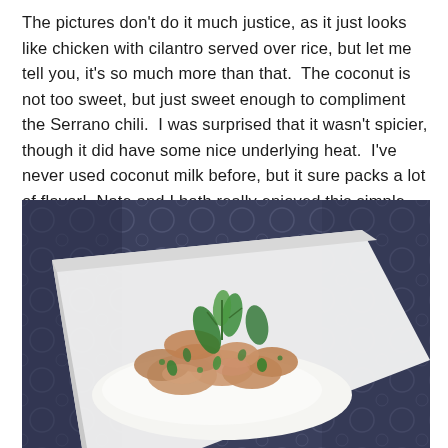The pictures don't do it much justice, as it just looks like chicken with cilantro served over rice, but let me tell you, it's so much more than that.  The coconut is not too sweet, but just sweet enough to compliment the Serrano chili.  I was surprised that it wasn't spicier, though it did have some nice underlying heat.  I've never used coconut milk before, but it sure packs a lot of flavor!  Nate and I both really enjoyed this simple and quick dinner!
[Figure (photo): A white square plate holding cooked chicken pieces garnished with fresh cilantro and green herbs, served over white rice, placed on a dark blue and grey patterned tablecloth.]